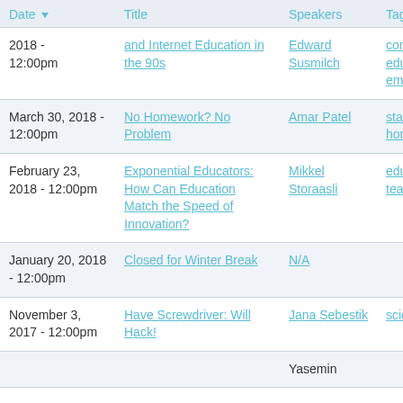| Date | Title | Speakers | Tags | Video |
| --- | --- | --- | --- | --- |
| 2018 - 12:00pm | and Internet Education in the 90s | Edward Susmilch | computer science, education, internet, email |  |
| March 30, 2018 - 12:00pm | No Homework? No Problem | Amar Patel | statistics, math, homework, education |  |
| February 23, 2018 - 12:00pm | Exponential Educators: How Can Education Match the Speed of Innovation? | Mikkel Storaasli | education, technology, teaching |  |
| January 20, 2018 - 12:00pm | Closed for Winter Break | N/A |  |  |
| November 3, 2017 - 12:00pm | Have Screwdriver: Will Hack! | Jana Sebestik | science, solar power |  |
|  |  | Yasemin |  |  |